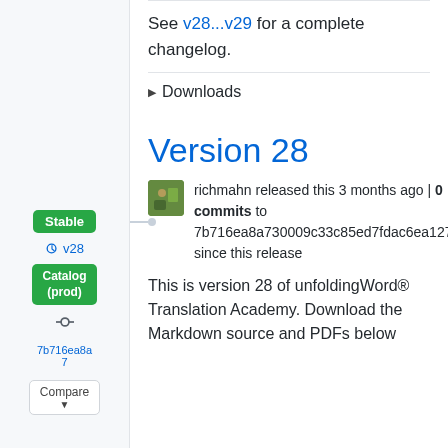See v28...v29 for a complete changelog.
▶ Downloads
Version 28
richmahn released this 3 months ago | 0 commits to 7b716ea8a730009c33c85ed7fdac6ea1273346ae since this release
This is version 28 of unfoldingWord® Translation Academy. Download the Markdown source and PDFs below